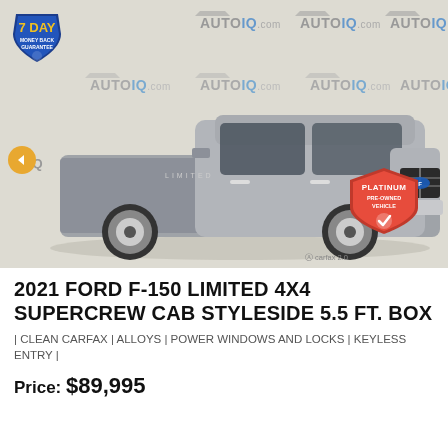[Figure (photo): 2021 Ford F-150 Limited 4x4 SuperCrew pickup truck in silver/gray, photographed on a lot with AutoIQ.com watermark background. Includes 7 Day Money Back Guarantee badge top-left and Platinum Pre-Owned Vehicle shield badge bottom-right.]
2021 FORD F-150 LIMITED 4X4 SUPERCREW CAB STYLESIDE 5.5 FT. BOX
| CLEAN CARFAX | ALLOYS | POWER WINDOWS AND LOCKS | KEYLESS ENTRY |
Price: $89,995